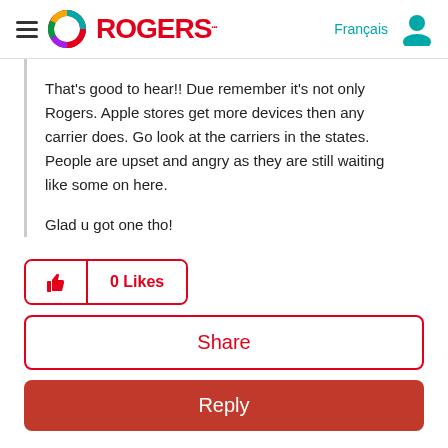ROGERS
That's good to hear!! Due remember it's not only Rogers. Apple stores get more devices then any carrier does. Go look at the carriers in the states. People are upset and angry as they are still waiting like some on here.

Glad u got one tho!
0 Likes
Share
Reply